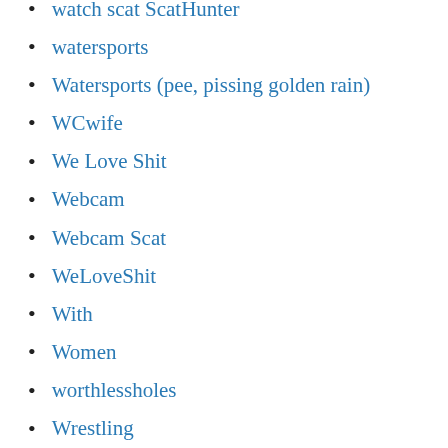watch scat ScatHunter
watersports
Watersports (pee, pissing golden rain)
WCwife
We Love Shit
Webcam
Webcam Scat
WeLoveShit
With
Women
worthlessholes
Wrestling
XGhost
xMochaPuffx
Xrussianbeautyx
XshayXshayX
Xyosstagy